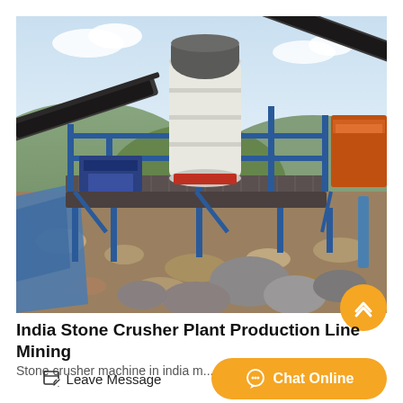[Figure (photo): Stone crusher plant production line in India showing industrial mining equipment with blue steel frame structure, large white cylindrical crusher unit, conveyor belts, and rocky terrain in the foreground. Background shows tree-covered hills and blue sky.]
India Stone Crusher Plant Production Line Mining
Stone crusher machine in india m...
Leave Message
Chat Online